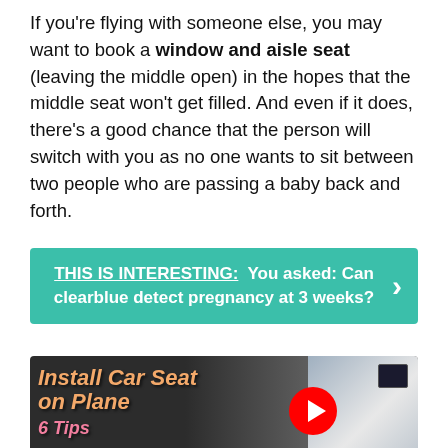If you're flying with someone else, you may want to book a window and aisle seat (leaving the middle open) in the hopes that the middle seat won't get filled. And even if it does, there's a good chance that the person will switch with you as no one wants to sit between two people who are passing a baby back and forth.
THIS IS INTERESTING: You asked: Can clearblue detect pregnancy at 3 weeks?
[Figure (screenshot): Video thumbnail showing airplane seats interior with text 'Install Car Seat on Plane' in orange italic font and '6 Tips' in pink, with a YouTube play button overlay.]